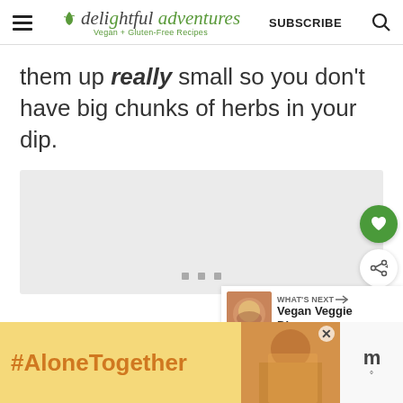delightful adventures Vegan + Gluten-Free Recipes | SUBSCRIBE
them up really small so you don't have big chunks of herbs in your dip.
[Figure (other): Gray placeholder content area with three small gray dots at bottom center]
[Figure (other): Green circular button with heart icon (favorite/save action)]
[Figure (other): White circular button with share icon]
[Figure (other): What's Next panel showing a bowl image and text 'Vegan Veggie Dip']
[Figure (other): Bottom advertisement banner: yellow section with #AloneTogether text, photo of woman, and brand logo]